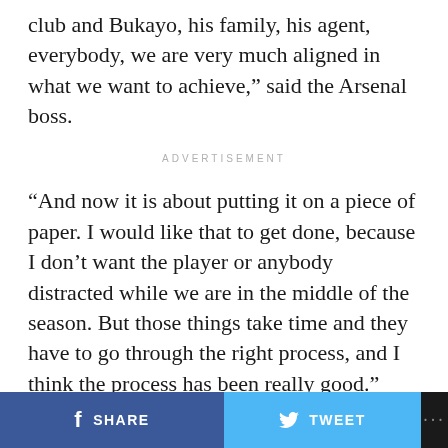club and Bukayo, his family, his agent, everybody, we are very much aligned in what we want to achieve," said the Arsenal boss.
ADVERTISEMENT
“And now it is about putting it on a piece of paper. I would like that to get done, because I don’t want the player or anybody distracted while we are in the middle of the season. But those things take time and they have to go through the right process, and I think the process has been really good.”
Also, the Spanish boss has delivered more of a coy response when questioned on discussions with Saliba,
SHARE   TWEET   ...